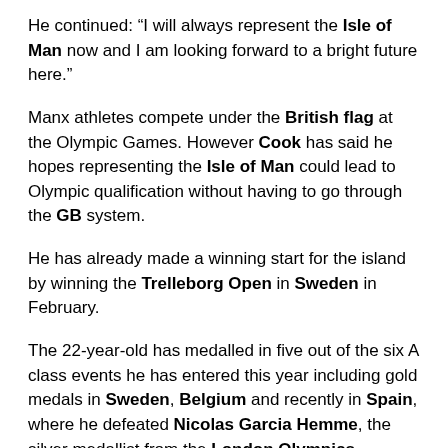He continued: “I will always represent the Isle of Man now and I am looking forward to a bright future here.”
Manx athletes compete under the British flag at the Olympic Games. However Cook has said he hopes representing the Isle of Man could lead to Olympic qualification without having to go through the GB system.
He has already made a winning start for the island by winning the Trelleborg Open in Sweden in February.
The 22-year-old has medalled in five out of the six A class events he has entered this year including gold medals in Sweden, Belgium and recently in Spain, where he defeated Nicolas Garcia Hemme, the silver medallist from the London Olympics.
“If I can help to train a few to fulfil their potential that would be great – I may even find a future star,” added Cook.